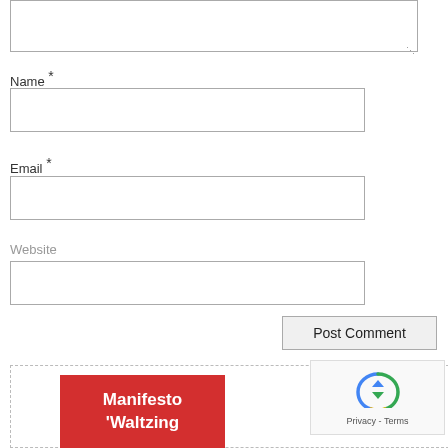[Figure (screenshot): Partial textarea input box at top of comment form]
Name *
[Figure (screenshot): Name input field (empty text box)]
Email *
[Figure (screenshot): Email input field (empty text box)]
Website
[Figure (screenshot): Website input field (empty text box)]
Post Comment
[Figure (screenshot): Dashed border container with red book card showing 'Manifesto Waltzing' text and reCAPTCHA badge overlay]